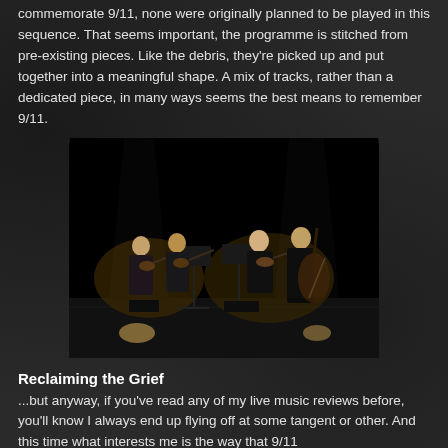commemorate 9/11, none were originally planned to be played in this sequence. That seems important, the programme is stitched from pre-existing pieces. Like the debris, they're picked up and put together into a meaningful shape. A mix of tracks, rather than a dedicated piece, in many ways seems the best means to remember 9/11.
[Figure (photo): A string quartet performing on a darkened stage. Four musicians are visible: two violinists on the left, a violist and a cellist on the right, lit by stage lighting against a black background.]
Reclaiming the Grief
...but anyway, if you've read any of my live music reviews before, you'll know I always end up flying off at some tangent or other. And this time what interests me is the way that 9/11